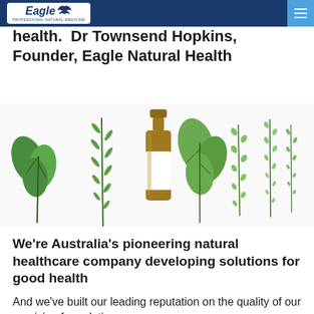Eagle Professional Natural Medicine
health.  Dr Townsend Hopkins, Founder, Eagle Natural Health
[Figure (photo): A brown glass medicine bottle with a blank white label surrounded by various fresh green herb sprigs arranged in a row on a white background, including mint, rosemary, sage, and other herbs.]
We're Australia's pioneering natural healthcare company developing solutions for good health
And we've built our leading reputation on the quality of our precision formulations